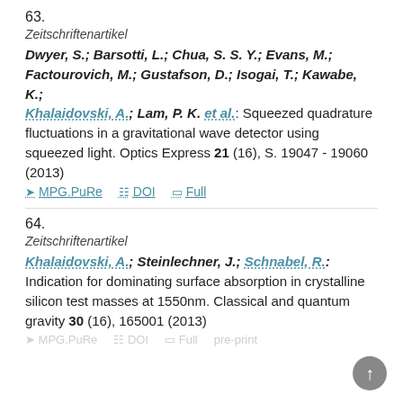63.
Zeitschriftenartikel
Dwyer, S.; Barsotti, L.; Chua, S. S. Y.; Evans, M.; Factourovich, M.; Gustafson, D.; Isogai, T.; Kawabe, K.; Khalaidovski, A.; Lam, P. K. et al.: Squeezed quadrature fluctuations in a gravitational wave detector using squeezed light. Optics Express 21 (16), S. 19047 - 19060 (2013)
MPG.PuRe   DOI   Full
64.
Zeitschriftenartikel
Khalaidovski, A.; Steinlechner, J.; Schnabel, R.: Indication for dominating surface absorption in crystalline silicon test masses at 1550nm. Classical and quantum gravity 30 (16), 165001 (2013)
MPG.PuRe   DOI   Full   pre-print